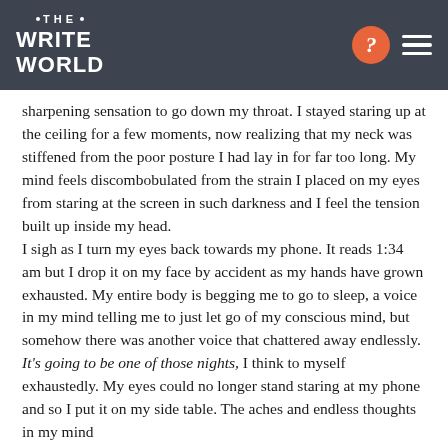Write the World
sharpening sensation to go down my throat. I stayed staring up at the ceiling for a few moments, now realizing that my neck was stiffened from the poor posture I had lay in for far too long. My mind feels discombobulated from the strain I placed on my eyes from staring at the screen in such darkness and I feel the tension built up inside my head.
I sigh as I turn my eyes back towards my phone. It reads 1:34 am but I drop it on my face by accident as my hands have grown exhausted. My entire body is begging me to go to sleep, a voice in my mind telling me to just let go of my conscious mind, but somehow there was another voice that chattered away endlessly. It's going to be one of those nights, I think to myself exhaustedly. My eyes could no longer stand staring at my phone and so I put it on my side table. The aches and endless thoughts in my mind